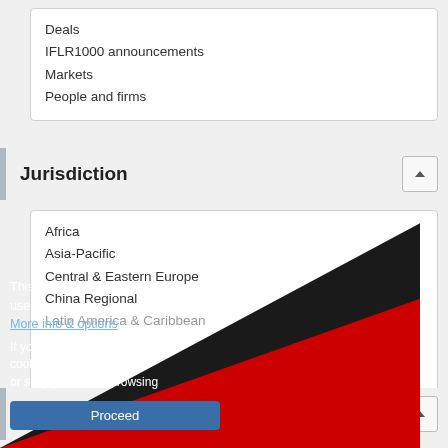Deals
IFLR1000 announcements
Markets
People and firms
Jurisdiction
Africa
Asia-Pacific
Central & Eastern Europe
China Regional
Latin America & Caribbean
Practice area
Banking and finance
Capital markets
Jurisdictional rankings
This site uses cookies. More info & options
If you're happy with cookies, click Proceed or simply continue browsing
Proceed